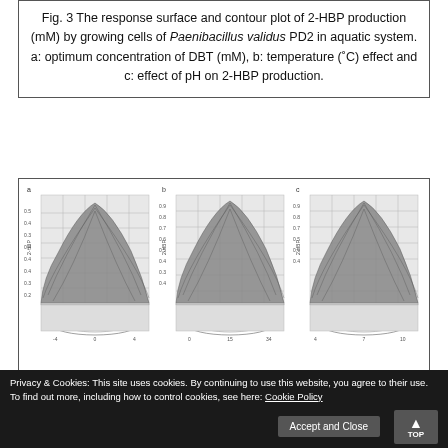Fig. 3 The response surface and contour plot of 2-HBP production (mM) by growing cells of Paenibacillus validus PD2 in aquatic system. a: optimum concentration of DBT (mM), b: temperature (°C) effect and c: effect of pH on 2-HBP production.
[Figure (continuous-plot): Three 3D response surface plots labeled a, b, c showing 2-HBP production (mM) on the z-axis. Each shows a dome-shaped surface with contour rings at the base. Plot a shows DBT concentration effect, plot b shows temperature effect, plot c shows pH effect on 2-HBP production by Paenibacillus validus PD2.]
Privacy & Cookies: This site uses cookies. By continuing to use this website, you agree to their use. To find out more, including how to control cookies, see here: Cookie Policy